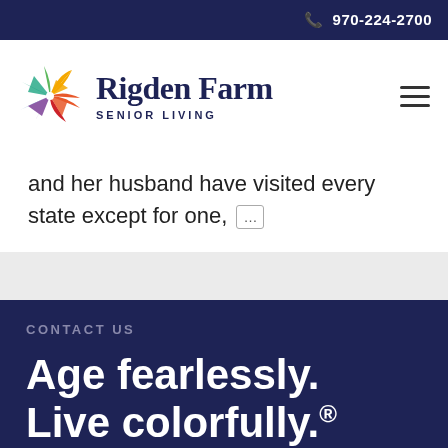📞 970-224-2700
[Figure (logo): Rigden Farm Senior Living logo with colorful pinwheel graphic and text 'Rigden Farm SENIOR LIVING']
and her husband have visited every state except for one, …
CONTACT US
Age fearlessly. Live colorfully.®